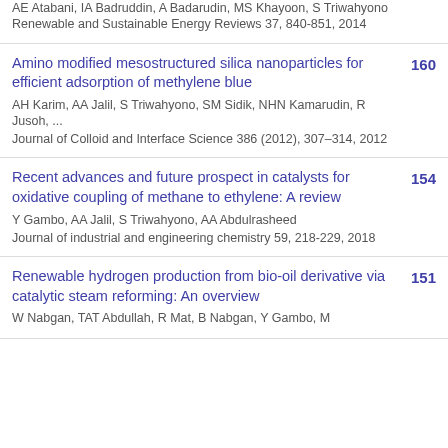AE Atabani, IA Badruddin, A Badarudin, MS Khayoon, S Triwahyono
Renewable and Sustainable Energy Reviews 37, 840-851, 2014
Amino modified mesostructured silica nanoparticles for efficient adsorption of methylene blue
AH Karim, AA Jalil, S Triwahyono, SM Sidik, NHN Kamarudin, R Jusoh, ...
Journal of Colloid and Interface Science 386 (2012), 307–314, 2012
160
Recent advances and future prospect in catalysts for oxidative coupling of methane to ethylene: A review
Y Gambo, AA Jalil, S Triwahyono, AA Abdulrasheed
Journal of industrial and engineering chemistry 59, 218-229, 2018
154
Renewable hydrogen production from bio-oil derivative via catalytic steam reforming: An overview
W Nabgan, TAT Abdullah, R Mat, B Nabgan, Y Gambo, M
151